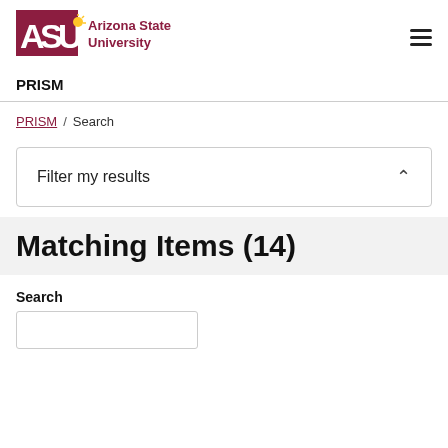[Figure (logo): Arizona State University (ASU) logo with maroon block letters and gold sunburst icon, followed by 'Arizona State University' text in maroon]
PRISM
PRISM / Search
Filter my results
Matching Items (14)
Search